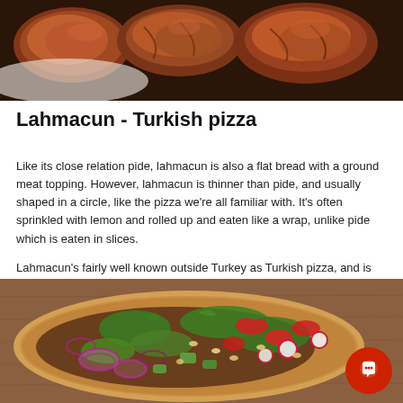[Figure (photo): Close-up photo of cooked meat pieces on a white plate, dark background]
Lahmacun - Turkish pizza
Like its close relation pide, lahmacun is also a flat bread with a ground meat topping. However, lahmacun is thinner than pide, and usually shaped in a circle, like the pizza we're all familiar with. It's often sprinkled with lemon and rolled up and eaten like a wrap, unlike pide which is eaten in slices.
Lahmacun's fairly well known outside Turkey as Turkish pizza, and is taking off not just in small Turkish cafes, but as an offering in upmarket restaurants with a gourmet twist, served with tender lamb and dollops of mint yogurt.
[Figure (photo): Lahmacun topped with fresh vegetables including tomatoes, red onion, cucumber, radish, parsley, and pine nuts on a wooden surface. A red circular chat/phone button icon is in the bottom right corner.]